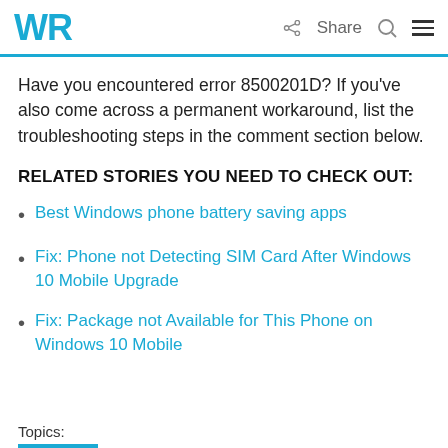WR  Share
Have you encountered error 8500201D? If you've also come across a permanent workaround, list the troubleshooting steps in the comment section below.
RELATED STORIES YOU NEED TO CHECK OUT:
Best Windows phone battery saving apps
Fix: Phone not Detecting SIM Card After Windows 10 Mobile Upgrade
Fix: Package not Available for This Phone on Windows 10 Mobile
Topics: